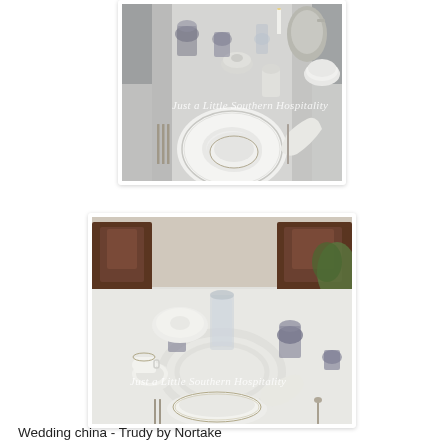[Figure (photo): Top-down view of an elegant table setting with white china plates, silverware, smoke-colored glassware, silver tea/coffee service, candles, and a white tablecloth. Watermark reads 'Just a Little Southern Hospitality' in white script.]
[Figure (photo): Wider angle view of a formal dining table set with white Nortake Trudy china, smoke-colored glasses, crystal centerpiece vase, white tablecloth with damask pattern, wooden chairs visible in background. Watermark reads 'Just a Little Southern Hospitality' in white script.]
Wedding china - Trudy by Nortake